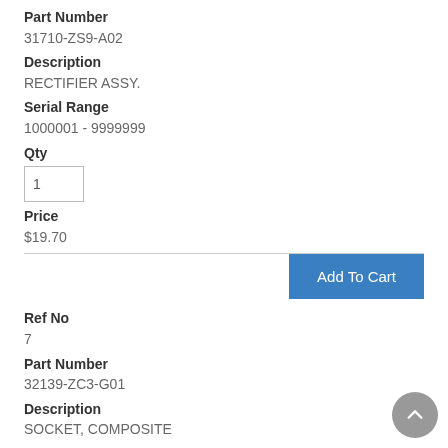Part Number
31710-ZS9-A02
Description
RECTIFIER ASSY.
Serial Range
1000001 - 9999999
Qty
1
Price
$19.70
Add To Cart
Ref No
7
Part Number
32139-ZC3-G01
Description
SOCKET, COMPOSITE
Serial Range